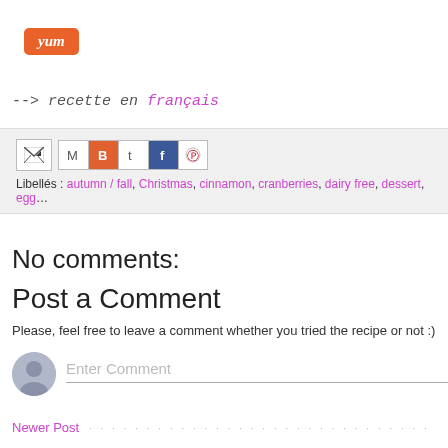[Figure (logo): Yum button - orange rounded rectangle with italic white 'yum' text]
--> recette en français
[Figure (screenshot): Share bar with email icon, Gmail icon, Blogger icon, Twitter icon, Facebook icon, Pinterest icon. Below: Libellés: autumn / fall, Christmas, cinnamon, cranberries, dairy free, dessert, egg...]
No comments:
Post a Comment
Please, feel free to leave a comment whether you tried the recipe or not :)
[Figure (screenshot): Comment input area with grey user avatar and 'Enter Comment' placeholder text field]
Newer Post · · · · · · · · · · · · · · · · · · · · · · ·
Subscribe to: Post Comments (Atom)